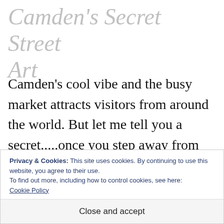Camden's Secret Street Art
Camden's cool vibe and the busy market attracts visitors from around the world. But let me tell you a secret.....once you step away from the High Street and discover the myriad of back streets and alleyways you will find many of the walls awash with
Privacy & Cookies: This site uses cookies. By continuing to use this website, you agree to their use.
To find out more, including how to control cookies, see here:
Cookie Policy
Close and accept